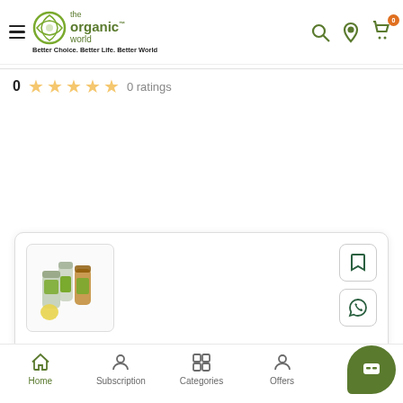[Figure (screenshot): The Organic World app header with logo, tagline, and navigation icons (search, location, cart with 0 badge)]
Better Choice. Better Life. Better World
0  ★★★★★  0 ratings
[Figure (photo): Product image showing organic spice/herb containers with green labels]
[Figure (illustration): Bookmark/save icon button]
[Figure (illustration): WhatsApp icon button]
Home  Subscription  Categories  Offers  Wallet